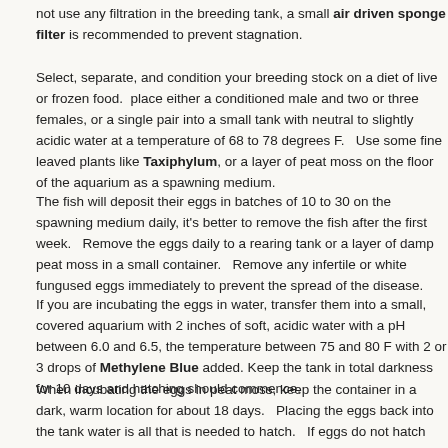not use any filtration in the breeding tank, a small air driven sponge filter is recommended to prevent stagnation.
Select, separate, and condition your breeding stock on a diet of live or frozen food. place either a conditioned male and two or three females, or a single pair into a small tank with neutral to slightly acidic water at a temperature of 68 to 78 degrees F. Use some fine leaved plants like Taxiphylum, or a layer of peat moss on the floor of the aquarium as a spawning medium.
The fish will deposit their eggs in batches of 10 to 30 on the spawning medium daily, it's better to remove the fish after the first week. Remove the eggs daily to a rearing tank or a layer of damp peat moss in a small container. Remove any infertile or white fungused eggs immediately to prevent the spread of the disease.
If you are incubating the eggs in water, transfer them into a small, covered aquarium with 2 inches of soft, acidic water with a pH between 6.0 and 6.5, the temperature between 75 and 80 F with 2 or 3 drops of Methylene Blue added. Keep the tank in total darkness for 10 days and hatching should commence.
When incubating the eggs in peat moss, keep the container in a dark, warm location for about 18 days. Placing the eggs back into the tank water is all that is needed to hatch. If eggs do not hatch when placed back into the tank, blow some air gently into the water through a straw to slightly oxygenate the eggs or put them into a closed container in your pocket a